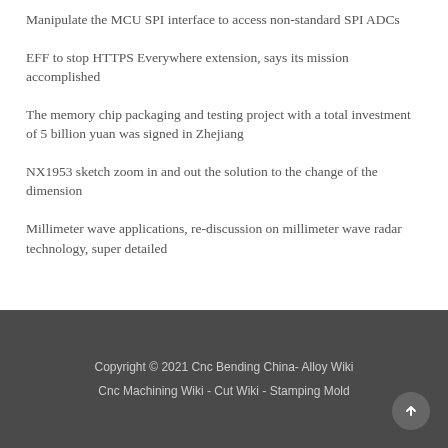Manipulate the MCU SPI interface to access non-standard SPI ADCs
EFF to stop HTTPS Everywhere extension, says its mission accomplished
The memory chip packaging and testing project with a total investment of 5 billion yuan was signed in Zhejiang
NX1953 sketch zoom in and out the solution to the change of the dimension
Millimeter wave applications, re-discussion on millimeter wave radar technology, super detailed
Copyright © 2021 Cnc Bending China- Alloy Wiki
Cnc Machining Wiki - Cut Wiki - Stamping Mold